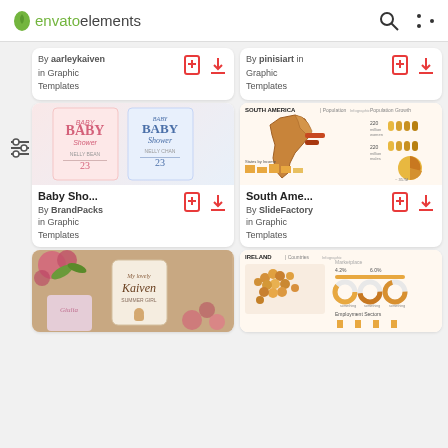envato elements
[Figure (screenshot): Partial card top-left: By aarleykaiven in Graphic Templates with bookmark and download icons]
[Figure (screenshot): Partial card top-right: By pinisiart in Graphic Templates with bookmark and download icons]
[Figure (illustration): Baby Shower invitation cards - pink and blue versions showing BABY Shower text with number 23]
Baby Sho...
By BrandPacks in Graphic Templates
[Figure (infographic): South America population infographic with map, bar charts, and pie chart]
South Ame...
By SlideFactory in Graphic Templates
[Figure (photo): Baby shower invitation with flowers, baby bear and cursive text Kaiven]
[Figure (infographic): Ireland country infographic with map colored in orange/amber tones, charts and statistics]